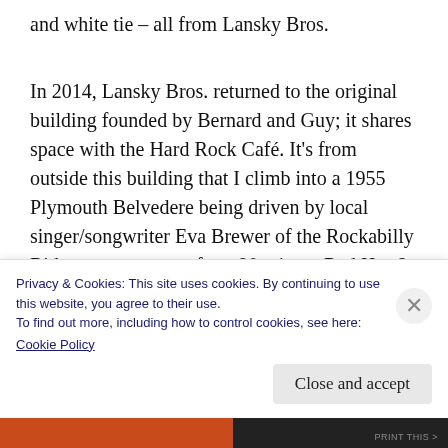and white tie – all from Lansky Bros.
In 2014, Lansky Bros. returned to the original building founded by Bernard and Guy; it shares space with the Hard Rock Café. It's from outside this building that I climb into a 1955 Plymouth Belvedere being driven by local singer/songwriter Eva Brewer of the Rockabilly Rides tour company for a 90 minute Red Hot &
Privacy & Cookies: This site uses cookies. By continuing to use this website, you agree to their use.
To find out more, including how to control cookies, see here:
Cookie Policy
Close and accept